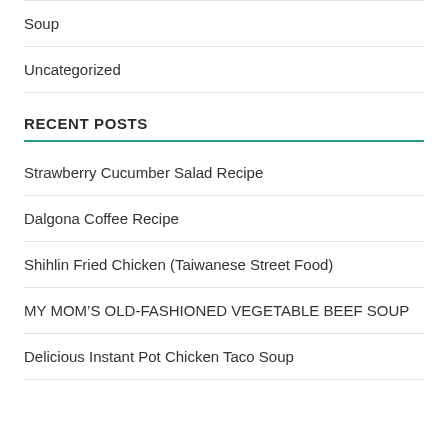Soup
Uncategorized
RECENT POSTS
Strawberry Cucumber Salad Recipe
Dalgona Coffee Recipe
Shihlin Fried Chicken (Taiwanese Street Food)
MY MOM’S OLD-FASHIONED VEGETABLE BEEF SOUP
Delicious Instant Pot Chicken Taco Soup